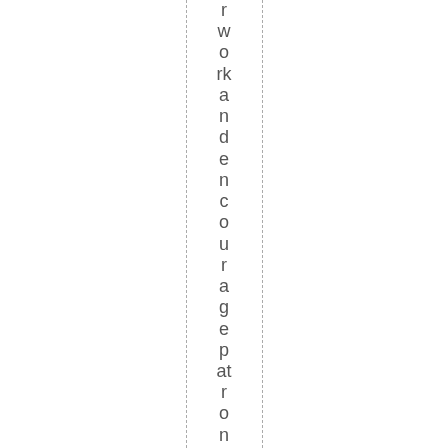r work and encourage patronage, to